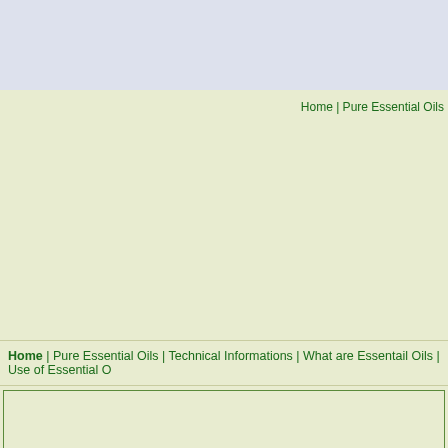Home | Pure Essential Oils
Home | Pure Essential Oils | Technical Informations | What are Essentail Oils | Use of Essential O